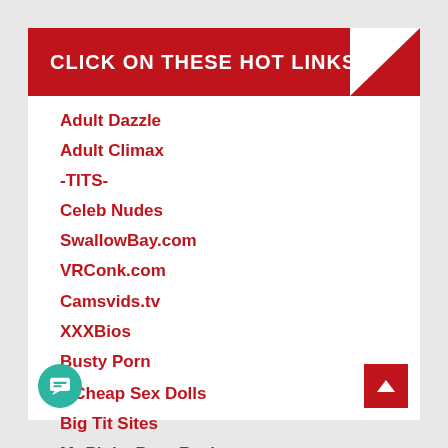CLICK ON THESE HOT LINKS
Adult Dazzle
Adult Climax
-TITS-
Celeb Nudes
SwallowBay.com
VRConk.com
Camsvids.tv
XXXBios
Busty Porn
15Cheap Sex Dolls
Big Tit Sites
Mr Pinks Porn Reviews